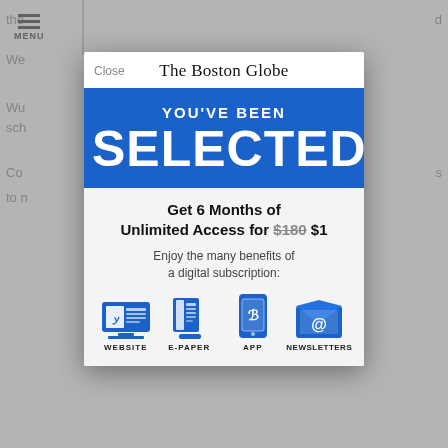[Figure (screenshot): Boston Globe website subscription modal popup overlay. Shows 'YOU'VE BEEN SELECTED' in blue banner, offer for 6 Months Unlimited Access for $1 (was $180), and four benefit icons: Website, E-Paper, App, Newsletters.]
The Boston Globe
YOU'VE BEEN
SELECTED
Get 6 Months of Unlimited Access for $180 $1
Enjoy the many benefits of a digital subscription:
WEBSITE
E-PAPER
APP
NEWSLETTERS